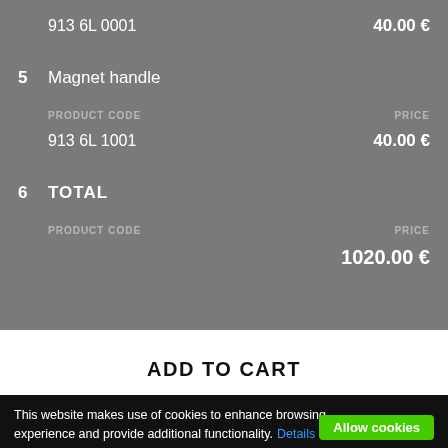913 6L 0001    40.00 €
5  Magnet handle
PRODUCT CODE    PRICE
913 6L 1001    40.00 €
6  TOTAL
PRODUCT CODE    PRICE
1020.00 €
ADD TO CART
This website makes use of cookies to enhance browsing experience and provide additional functionality.  Details
Allow cookies